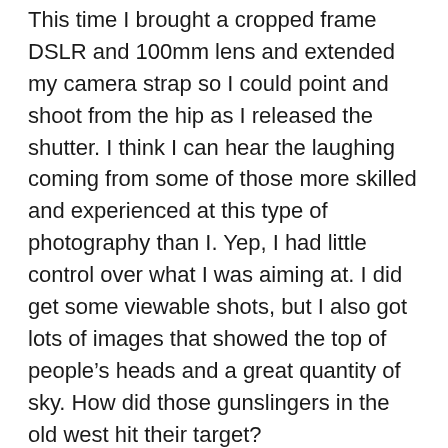This time I brought a cropped frame DSLR and 100mm lens and extended my camera strap so I could point and shoot from the hip as I released the shutter. I think I can hear the laughing coming from some of those more skilled and experienced at this type of photography than I. Yep, I had little control over what I was aiming at. I did get some viewable shots, but I also got lots of images that showed the top of people's heads and a great quantity of sky. How did those gunslingers in the old west hit their target?
Maybe I need to put some beer cans on a fence rail and practice like I saw actor Alan Ladd do in a movie I watched last week. Or better yet, I have a friend with one of those exciting little Fuji 100 cameras. I wonder if I took beer cans (full) over to his house instead of putting them on the fence, I could convince, or bribe, him to lend that camera to me next time I want to try.